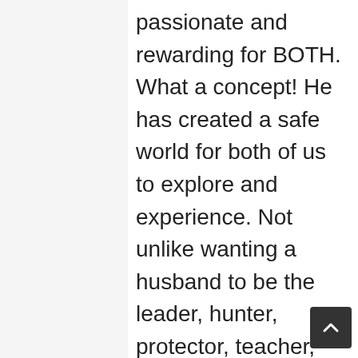passionate and rewarding for BOTH. What a concept! He has created a safe world for both of us to explore and experience. Not unlike wanting a husband to be the leader, hunter, protector, teacher, guide, lover, and friend, I am blessed to have found all these traits as well as the freedom to be pleased and still share my